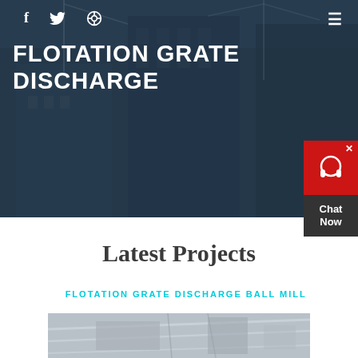[Figure (photo): Construction site hero background with cranes and buildings in dark blue overlay]
f  twitter  dribbble  ☰
FLOTATION GRATE DISCHARGE
HOME  //  PRODUCTS  //  FLOTATION GRATE DISCHARGE BALL MILL
[Figure (other): Chat Now widget with red top section and dark bottom]
Latest Projects
[Figure (photo): Industrial facility interior image at bottom of page]